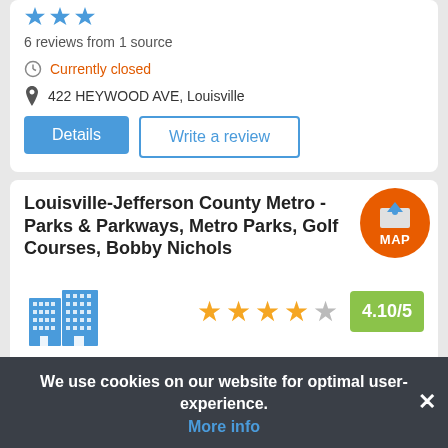6 reviews from 1 source
Currently closed
422 HEYWOOD AVE, Louisville
Details
Write a review
Louisville-Jefferson County Metro - Parks & Parkways, Metro Parks, Golf Courses, Bobby Nichols
[Figure (infographic): Orange circular MAP button with map icon]
[Figure (illustration): Blue building/city hall icon]
[Figure (infographic): Star rating: 4 filled orange stars and 1 empty gray star with score badge 4.10/5]
100 reviews from 1 source
We use cookies on our website for optimal user-experience.
More info